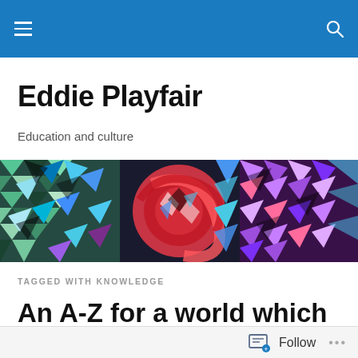Eddie Playfair — navigation bar
Eddie Playfair
Education and culture
[Figure (illustration): Colourful abstract mosaic banner image with geometric and organic shapes in teal, blue, green, red, purple and black.]
TAGGED WITH KNOWLEDGE
An A-Z for a world which has to change.
Follow